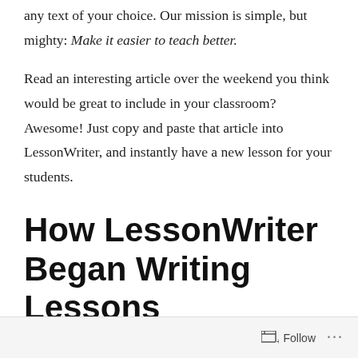any text of your choice. Our mission is simple, but mighty: Make it easier to teach better.
Read an interesting article over the weekend you think would be great to include in your classroom? Awesome! Just copy and paste that article into LessonWriter, and instantly have a new lesson for your students.
How LessonWriter Began Writing Lessons
A...
Follow ...